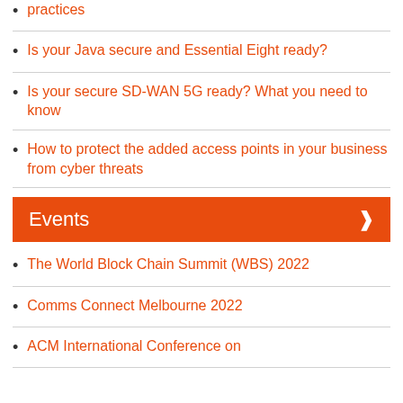practices
Is your Java secure and Essential Eight ready?
Is your secure SD-WAN 5G ready? What you need to know
How to protect the added access points in your business from cyber threats
Events
The World Block Chain Summit (WBS) 2022
Comms Connect Melbourne 2022
ACM International Conference on